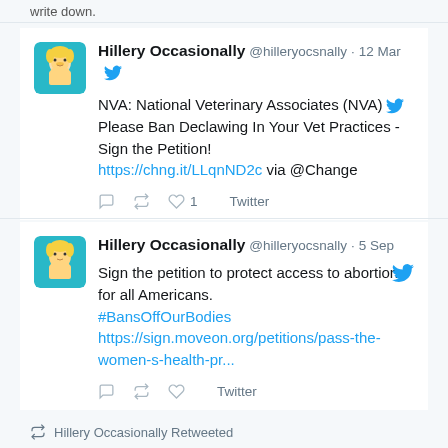write down.
Hillery Occasionally @hilleryocsnally · 12 Mar
NVA: National Veterinary Associates (NVA) Please Ban Declawing In Your Vet Practices - Sign the Petition! https://chng.it/LLqnND2c via @Change
♡ 1  Twitter
Hillery Occasionally @hilleryocsnally · 5 Sep
Sign the petition to protect access to abortion for all Americans. #BansOffOurBodies https://sign.moveon.org/petitions/pass-the-women-s-health-pr...
Twitter
Hillery Occasionally Retweeted